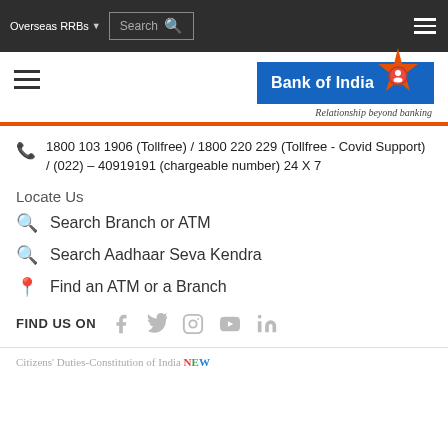Overseas RRBs  Search
[Figure (logo): Bank of India logo with star emblem, blue badge with white text 'Bank of India', and tagline 'Relationship beyond banking']
1800 103 1906 (Tollfree) / 1800 220 229 (Tollfree - Covid Support) / (022) – 40919191 (chargeable number) 24 X 7
Locate Us
Search Branch or ATM
Search Aadhaar Seva Kendra
Find an ATM or a Branch
FIND US ON
Citizens' Duties-Constitution of India NEW